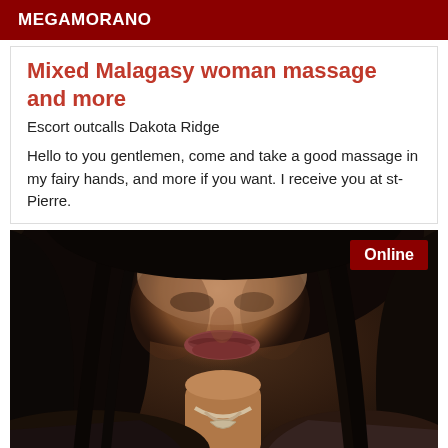MEGAMORANO
Mixed Malagasy woman massage and more
Escort outcalls Dakota Ridge
Hello to you gentlemen, come and take a good massage in my fairy hands, and more if you want. I receive you at st-Pierre.
[Figure (photo): Close-up portrait photo of a mixed Malagasy woman with dark hair, wearing a necklace, with an 'Online' badge in the top right corner]